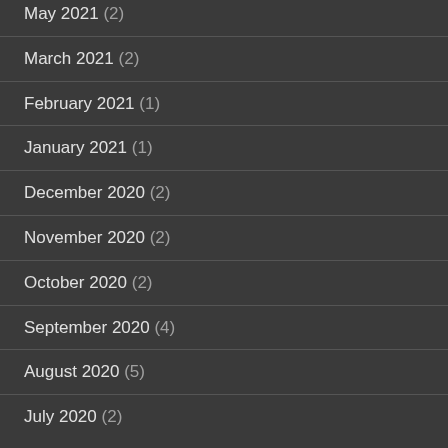May 2021 (2)
March 2021 (2)
February 2021 (1)
January 2021 (1)
December 2020 (2)
November 2020 (2)
October 2020 (2)
September 2020 (4)
August 2020 (5)
July 2020 (2)